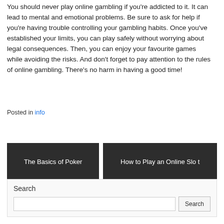You should never play online gambling if you're addicted to it. It can lead to mental and emotional problems. Be sure to ask for help if you're having trouble controlling your gambling habits. Once you've established your limits, you can play safely without worrying about legal consequences. Then, you can enjoy your favourite games while avoiding the risks. And don't forget to pay attention to the rules of online gambling. There's no harm in having a good time!
Posted in info
The Basics of Poker
How to Play an Online Slot
Search